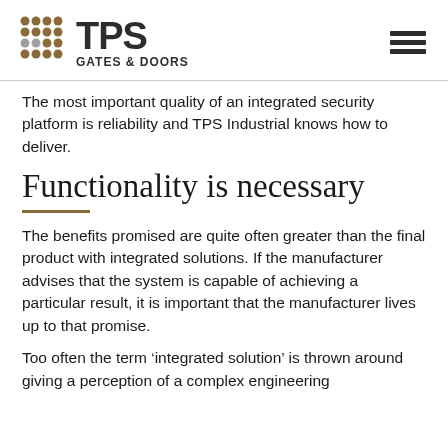TPS GATES & DOORS
The most important quality of an integrated security platform is reliability and TPS Industrial knows how to deliver.
Functionality is necessary
The benefits promised are quite often greater than the final product with integrated solutions. If the manufacturer advises that the system is capable of achieving a particular result, it is important that the manufacturer lives up to that promise.
Too often the term ‘integrated solution’ is thrown around giving a perception of a complex engineering